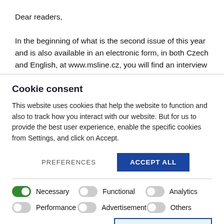Dear readers,

In the beginning of what is the second issue of this year and is also available in an electronic form, in both Czech and English, at www.msline.cz, you will find an interview with the Minister of Defence, which concerns not only the acquisition plan of and investments into the Czech Army, but also the cooperation of the
Cookie consent
This website uses cookies that help the website to function and also to track how you interact with our website. But for us to provide the best user experience, enable the specific cookies from Settings, and click on Accept.
PREFERENCES   ACCEPT ALL
Necessary   Functional   Analytics
Performance   Advertisement   Others
SAVE MY PREFERENCES